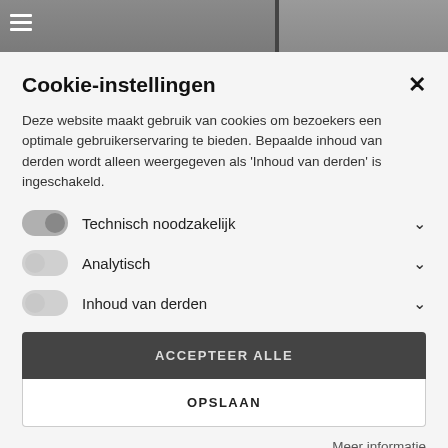[Figure (screenshot): Top navigation bar with hamburger menu icon and partial photo background]
Cookie-instellingen
Deze website maakt gebruik van cookies om bezoekers een optimale gebruikerservaring te bieden. Bepaalde inhoud van derden wordt alleen weergegeven als 'Inhoud van derden' is ingeschakeld.
Technisch noodzakelijk
Analytisch
Inhoud van derden
ACCEPTEER ALLE
OPSLAAN
Meer informatie